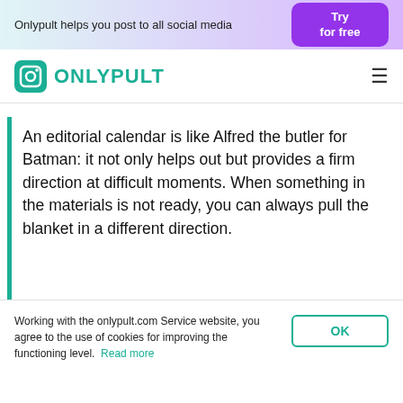Onlypult helps you post to all social media | Try for free
ONLYPULT
An editorial calendar is like Alfred the butler for Batman: it not only helps out but provides a firm direction at difficult moments. When something in the materials is not ready, you can always pull the blanket in a different direction.
Working with the onlypult.com Service website, you agree to the use of cookies for improving the functioning level. Read more